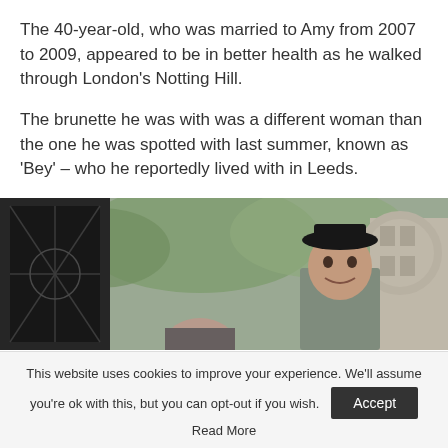The 40-year-old, who was married to Amy from 2007 to 2009, appeared to be in better health as he walked through London's Notting Hill.
The brunette he was with was a different woman than the one he was spotted with last summer, known as 'Bey' – who he reportedly lived with in Leeds.
[Figure (photo): A man wearing a black hat smiling outdoors in what appears to be a street setting, with trees and buildings in the background.]
This website uses cookies to improve your experience. We'll assume you're ok with this, but you can opt-out if you wish. Read More